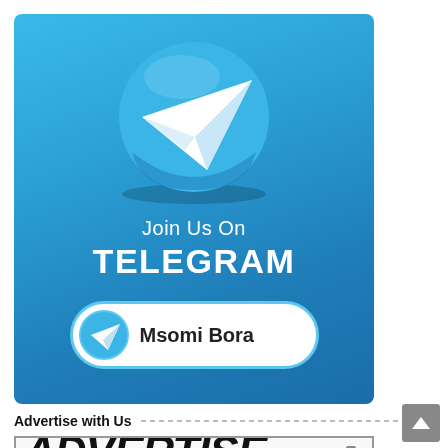[Figure (illustration): Telegram promotional banner with Telegram logo (blue circle with white paper plane icon), text 'Join Us On TELEGRAM', and a button with Telegram icon and 'Msomi Bora' label]
Advertise with Us
[Figure (illustration): Advertisement banner showing 'ADVERTISE YOUR' text in large bold black letters on white/light background, partially visible with a painter figure on the right]